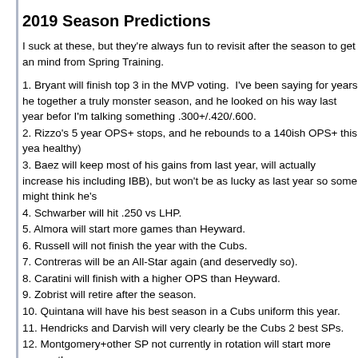2019 Season Predictions
I suck at these, but they're always fun to revisit after the season to get an mind from Spring Training.
1. Bryant will finish top 3 in the MVP voting. I've been saying for years he together a truly monster season, and he looked on his way last year befor I'm talking something .300+/.420/.600.
2. Rizzo's 5 year OPS+ stops, and he rebounds to a 140ish OPS+ this yea healthy)
3. Baez will keep most of his gains from last year, will actually increase his including IBB), but won't be as lucky as last year so some might think he's
4. Schwarber will hit .250 vs LHP.
5. Almora will start more games than Heyward.
6. Russell will not finish the year with the Cubs.
7. Contreras will be an All-Star again (and deservedly so).
8. Caratini will finish with a higher OPS than Heyward.
9. Zobrist will retire after the season.
10. Quintana will have his best season in a Cubs uniform this year.
11. Hendricks and Darvish will very clearly be the Cubs 2 best SPs.
12. Montgomery+other SP not currently in rotation will start more games th
13. The closer at the end of the season is not currently on the Cubs 25 ma in their system already)
14. Morrow will appear in more games than Cishek.
15. Last year the Cubs used 28 different pitchers; this year, they'll use mo position players, so 23 pitchers. I'll change this to more than 23 pitchers p
16. Happ will have more PAs than Zobrist.
17. The Cubs will add a starting position player before the trading deadline
18. As part of the deal for that new position player starter, the Cubs will d